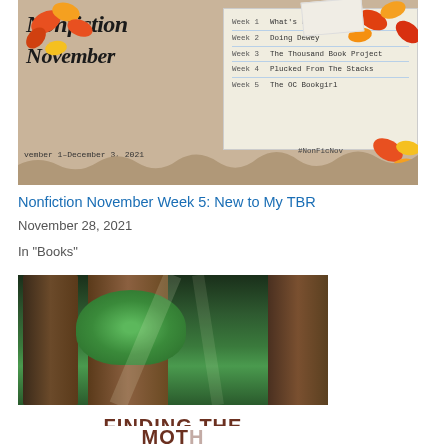[Figure (illustration): Nonfiction November promotional banner showing script text 'Nonfiction November', a lined notepad listing Week 1-5 hosts, autumn leaves decoration, and date November 1–December 3, 2021. Hashtag #NonFicNov at bottom.]
Nonfiction November Week 5: New to My TBR
November 28, 2021
In "Books"
[Figure (photo): Book cover showing tall redwood or old-growth trees with ferns, and large text reading 'FINDING THE' visible at the bottom on a white bar.]